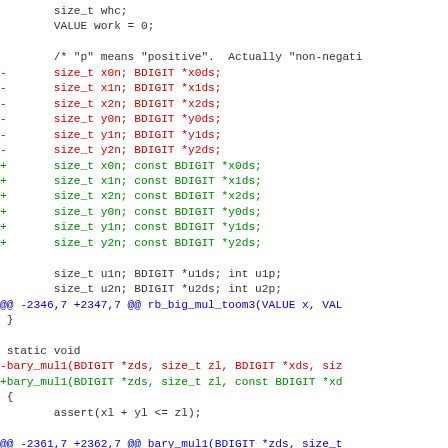Code diff showing changes to function parameters, replacing BDIGIT* with const BDIGIT*, and renaming bary_mul1 function signature update.